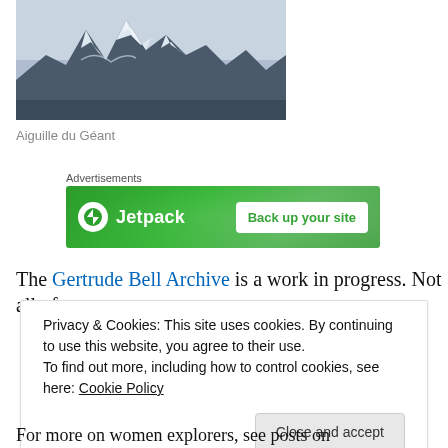[Figure (photo): Black and white photograph of a snow-capped mountain peak — Aiguille du Géant]
Aiguille du Géant
Advertisements
[Figure (screenshot): Jetpack advertisement banner — green background with Jetpack logo and 'Back up your site' button]
The Gertrude Bell Archive is a work in progress. Not all of
Privacy & Cookies: This site uses cookies. By continuing to use this website, you agree to their use.
To find out more, including how to control cookies, see here: Cookie Policy
Close and accept
For more on women explorers, see posts on